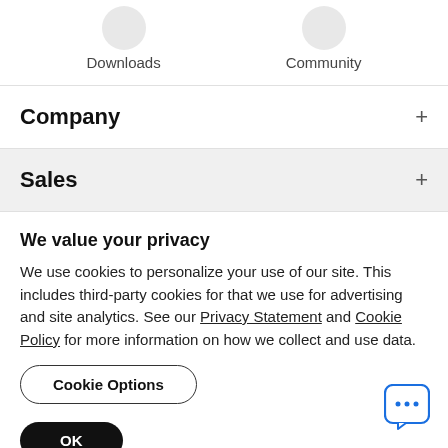Downloads
Community
Company
Sales
We value your privacy
We use cookies to personalize your use of our site. This includes third-party cookies for that we use for advertising and site analytics. See our Privacy Statement and Cookie Policy for more information on how we collect and use data.
Cookie Options
OK